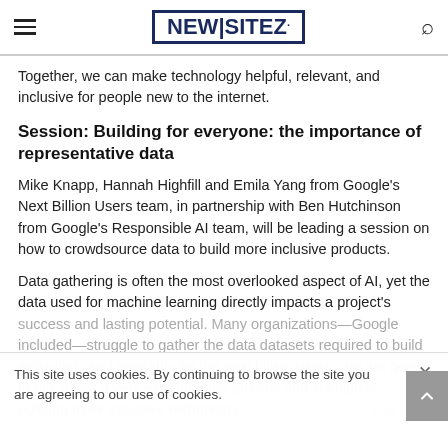NEWSITEZ
Together, we can make technology helpful, relevant, and inclusive for people new to the internet.
Session: Building for everyone: the importance of representative data
Mike Knapp, Hannah Highfill and Emila Yang from Google's Next Billion Users team, in partnership with Ben Hutchinson from Google's Responsible AI team, will be leading a session on how to crowdsource data to build more inclusive products.
Data gathering is often the most overlooked aspect of AI, yet the data used for machine learning directly impacts a project's
success and lasting potential. Many organizations—Google included—struggle to gather the data datasets required to build inclusively and equitably for the next billion users. We are going to talk about a very experimental product and solution is building more inclusive technology... n of
This site uses cookies. By continuing to browse the site you are agreeing to our use of cookies.